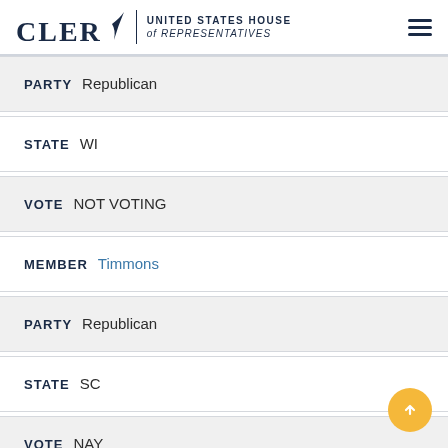CLERK | UNITED STATES HOUSE of REPRESENTATIVES
PARTY Republican
STATE WI
VOTE NOT VOTING
MEMBER Timmons
PARTY Republican
STATE SC
VOTE NAY